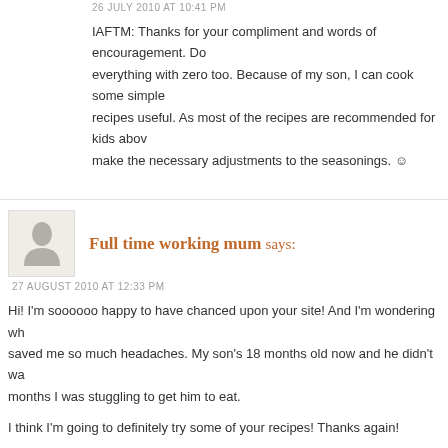26 JULY 2010 AT 10:41 PM
IAFTM: Thanks for your compliment and words of encouragement. Do everything with zero too. Because of my son, I can cook some simple recipes useful. As most of the recipes are recommended for kids above make the necessary adjustments to the seasonings. ☺
Full time working mum says:
27 AUGUST 2010 AT 12:33 PM
Hi! I'm soooooo happy to have chanced upon your site! And I'm wondering wh saved me so much headaches. My son's 18 months old now and he didn't wa months I was stuggling to get him to eat.
I think I'm going to definitely try some of your recipes! Thanks again!